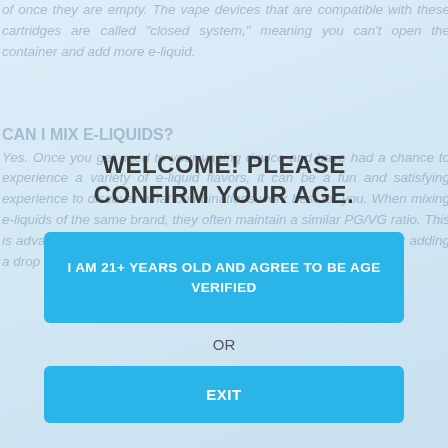of once they are empty. The vape devices that are compatible with these cartridges are called "closed system," meaning you can't open the container and add more e-liquid.
CAN I MIX E-LIQUIDS?
Yes. Once you get used to your vaping device and have had a chance to experience a variety of e-liquid flavors, it can be a fun and satisfying experience to discover what combinations work best for you. When mixing e-liquids of the same brand, they often maintain a similar PG/VG ratio. This is advantageous because...
WELCOME! PLEASE CONFIRM YOUR AGE.
I AM 21+ YEARS OLD AND AGREE TO BE AGE VERIFIED
OR
EXIT